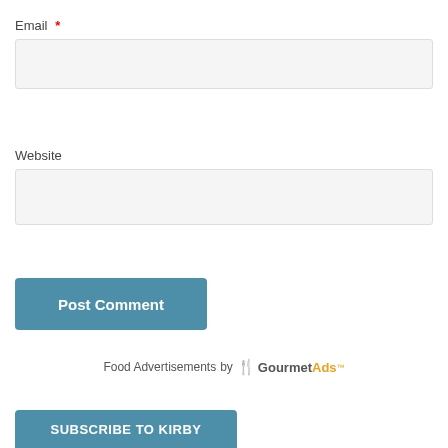Email *
Website
Post Comment
Food Advertisements by GourmetAds™
SUBSCRIBE TO KIRBY